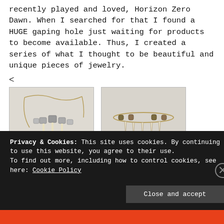recently played and loved, Horizon Zero Dawn. When I searched for that I found a HUGE gaping hole just waiting for products to become available. Thus, I created a series of what I thought to be beautiful and unique pieces of jewelry.
<
[Figure (photo): Photo of a necklace jewelry piece with dangling white and crystal elements, labeled 'Inspired By...']
[Figure (photo): Photo of a bracelet jewelry piece with spike/claw elements, labeled 'Inspired By...']
Privacy & Cookies: This site uses cookies. By continuing to use this website, you agree to their use.
To find out more, including how to control cookies, see here: Cookie Policy
Close and accept